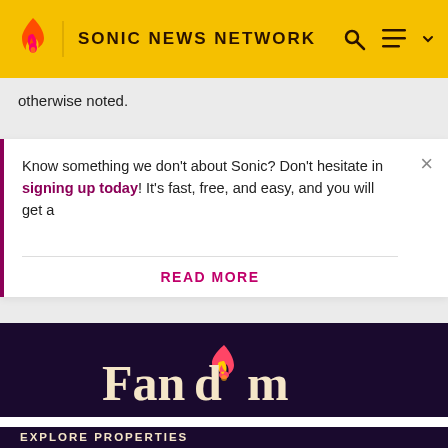SONIC NEWS NETWORK
otherwise noted.
Know something we don't about Sonic? Don't hesitate in signing up today! It's fast, free, and easy, and you will get a
READ MORE
[Figure (logo): Fandom logo with flame icon on dark purple background]
EXPLORE PROPERTIES
Fandom    Futhead